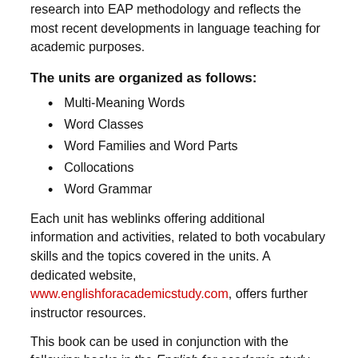research into EAP methodology and reflects the most recent developments in language teaching for academic purposes.
The units are organized as follows:
Multi-Meaning Words
Word Classes
Word Families and Word Parts
Collocations
Word Grammar
Each unit has weblinks offering additional information and activities, related to both vocabulary skills and the topics covered in the units. A dedicated website, www.englishforacademicstudy.com, offers further instructor resources.
This book can be used in conjunction with the following books in the English for academic study series, also published by Garnet Education: EAS